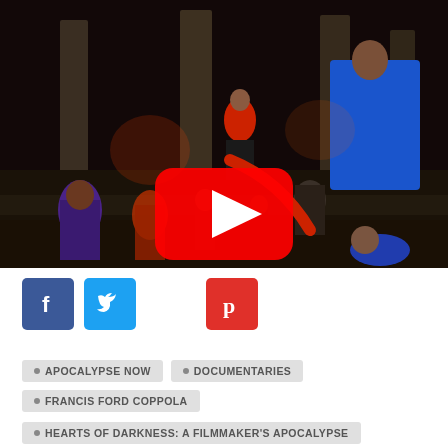[Figure (screenshot): YouTube video thumbnail showing a dark scene with people in colorful costumes at what appears to be ruins or a temple setting, with a red YouTube play button overlay in the center.]
[Figure (infographic): Social media sharing buttons: Facebook (blue), Twitter (blue), and Pinterest (red) icons.]
APOCALYPSE NOW
DOCUMENTARIES
FRANCIS FORD COPPOLA
HEARTS OF DARKNESS: A FILMMAKER'S APOCALYPSE